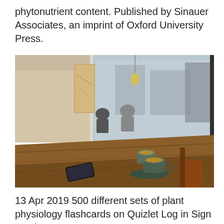phytonutrient content. Published by Sinauer Associates, an imprint of Oxford University Press.
[Figure (photo): Interior of a café showing a long wooden table in the foreground with two green espresso cups on a saucer and a smartphone. In the background, people are seated at tables near large windows.]
13 Apr 2019 500 different sets of plant physiology flashcards on Quizlet Log in Sign up plant